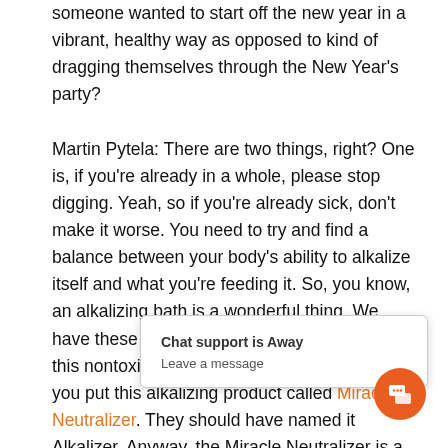someone wanted to start off the new year in a vibrant, healthy way as opposed to kind of dragging themselves through the New Year's party?
Martin Pytela: There are two things, right? One is, if you're already in a whole, please stop digging. Yeah, so if you're already sick, don't make it worse. You need to try and find a balance between your body's ability to alkalize itself and what you're feeding it. So, you know, an alkalizing bath is a wonderful thing. We have these Miracle II products where you take this nontoxic soap, put it in your bath, and then you put this alkalizing product called Miracle Neutralizer. They should have named it Alkalizer. Anyway, the Miracle Neutralizer is a mineral. It's liquid bath salt. When we add it to the water, through alkalizing, pulling acidity se k